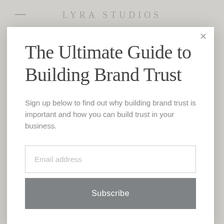LYRA STUDIOS
The Ultimate Guide to Building Brand Trust
Sign up below to find out why building brand trust is important and how you can build trust in your business.
Email address
Subscribe
client I'm looking for a font that